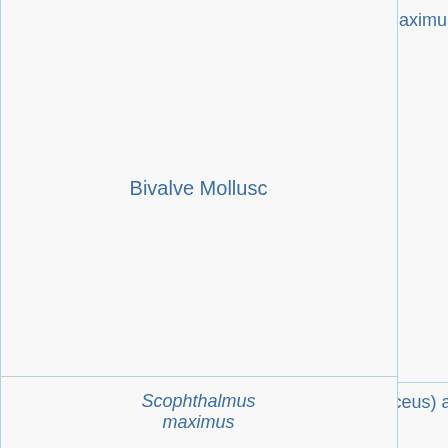|  | Species/Category | References |
| --- | --- | --- |
|  | Bivalve Mollusc | Selection of genes for quantitative RT-PCR studies in gonad of the bivalve mollusc Pecten maximus L. |
|  | Scophthalmus maximus | Selection of normalization genes for quantitative PCR studies in Japanese flounder (Paralichthys olivaceus) and turbot (Scophthalmus maximus) under conditions of infection |